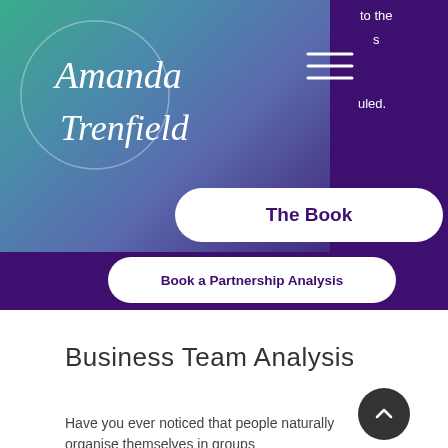[Figure (screenshot): Website header with gradient green-to-purple panel on left and solid purple panel on right, showing Amanda Trenfield logo in script text with hamburger menu icon, and partial text fragments on the right side reading 'to the', 's', 'uled.', 'rst to', 'ontact']
The Book
Book a Partnership Analysis
Business Team Analysis
Have you ever noticed that people naturally organise themselves in groups